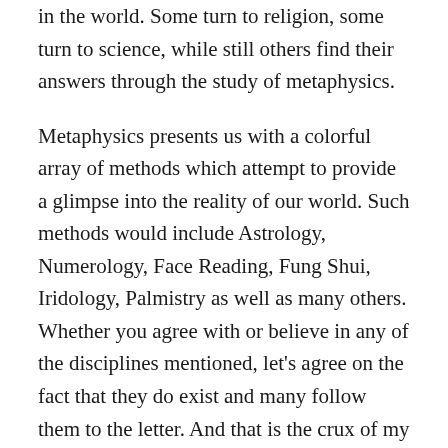in the world. Some turn to religion, some turn to science, while still others find their answers through the study of metaphysics.
Metaphysics presents us with a colorful array of methods which attempt to provide a glimpse into the reality of our world. Such methods would include Astrology, Numerology, Face Reading, Fung Shui, Iridology, Palmistry as well as many others. Whether you agree with or believe in any of the disciplines mentioned, let's agree on the fact that they do exist and many follow them to the letter. And that is the crux of my question as well as the reason for this piece.
If so many disciplines exist and so many people take them as truth, why then, when two of them intersect,